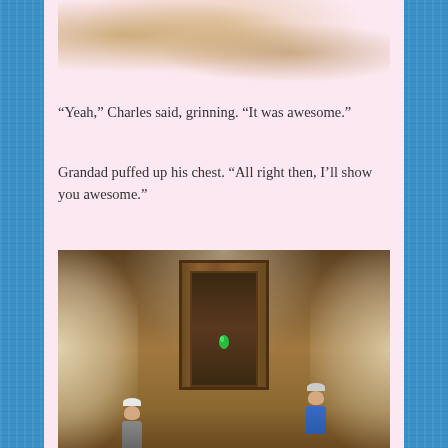[Figure (screenshot): Top portion of a sandy/rocky texture screenshot from a video game, showing a tan/brown cracked surface]
“Yeah,” Charles said, grinning. “It was awesome.”
Grandad puffed up his chest. “All right then, I’ll show you awesome.”
[Figure (screenshot): Video game screenshot showing two characters (one in blue dress with grey hair, one smaller character) standing in a misty ancient dungeon or temple corridor with a glowing green gem/plumbob visible and ornate stone doorway in the center]